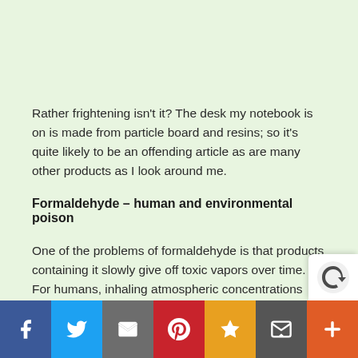Rather frightening isn't it? The desk my notebook is on is made from particle board and resins; so it's quite likely to be an offending article as are many other products as I look around me.
Formaldehyde – human and environmental poison
One of the problems of formaldehyde is that products containing it slowly give off toxic vapors over time. For humans, inhaling atmospheric concentrations abo...